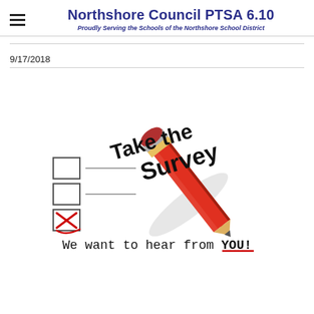Northshore Council PTSA 6.10 — Proudly Serving the Schools of the Northshore School District
9/17/2018
[Figure (illustration): Survey promotional illustration with bold text 'Take the Survey' in black over a red pencil checking a checkbox on a checklist. Below reads 'We want to hear from YOU!' with YOU underlined in red.]